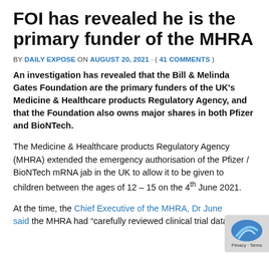FOI has revealed he is the primary funder of the MHRA
BY DAILY EXPOSE ON AUGUST 20, 2021 · ( 41 COMMENTS )
An investigation has revealed that the Bill & Melinda Gates Foundation are the primary funders of the UK's Medicine & Healthcare products Regulatory Agency, and that the Foundation also owns major shares in both Pfizer and BioNTech.
The Medicine & Healthcare products Regulatory Agency (MHRA) extended the emergency authorisation of the Pfizer / BioNTech mRNA jab in the UK to allow it to be given to children between the ages of 12 – 15 on the 4th June 2021.
At the time, the Chief Executive of the MHRA, Dr June said the MHRA had "carefully reviewed clinical trial data in